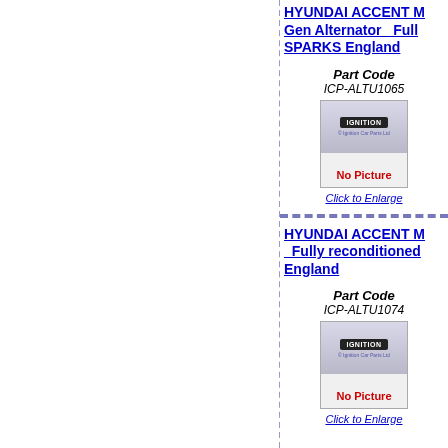HYUNDAI ACCENT M Gen Alternator Full SPARKS England
Part Code ICP-ALTU1065
[Figure (photo): No Picture placeholder image with IGNITION label and watermark text for car part ICP-ALTU1065]
Click to Enlarge
HYUNDAI ACCENT M Fully reconditioned England
Part Code ICP-ALTU1074
[Figure (photo): No Picture placeholder image with IGNITION label and watermark text for car part ICP-ALTU1074]
Click to Enlarge